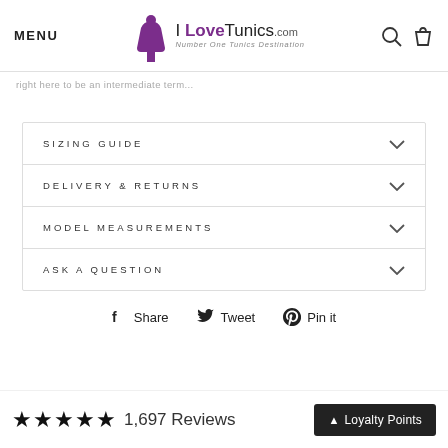MENU | I LoveTunics.com — Number One Tunics Destination
right here to be an intermediate term
SIZING GUIDE
DELIVERY & RETURNS
MODEL MEASUREMENTS
ASK A QUESTION
Share  Tweet  Pin it
★★★★★  1,697 Reviews
Loyalty Points